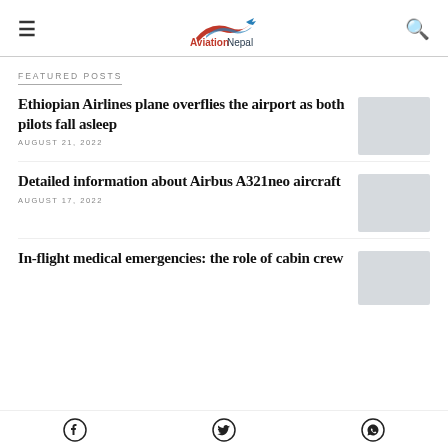AviationNepal
FEATURED POSTS
Ethiopian Airlines plane overflies the airport as both pilots fall asleep
AUGUST 21, 2022
Detailed information about Airbus A321neo aircraft
AUGUST 17, 2022
In-flight medical emergencies: the role of cabin crew
Facebook  Twitter  WhatsApp